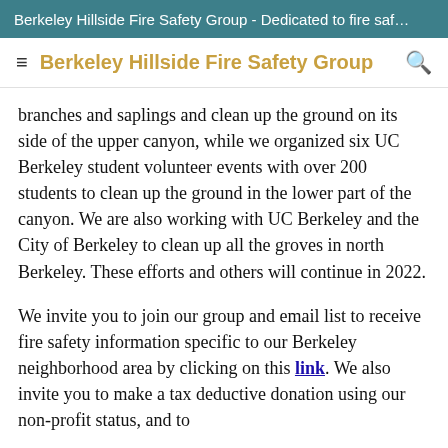Berkeley Hillside Fire Safety Group - Dedicated to fire saf…
≡  Berkeley Hillside Fire Safety Group  🔍
branches and saplings and clean up the ground on its side of the upper canyon, while we organized six UC Berkeley student volunteer events with over 200 students to clean up the ground in the lower part of the canyon. We are also working with UC Berkeley and the City of Berkeley to clean up all the groves in north Berkeley. These efforts and others will continue in 2022.
We invite you to join our group and email list to receive fire safety information specific to our Berkeley neighborhood area by clicking on this link. We also invite you to make a tax deductive donation using our non-profit status, and to